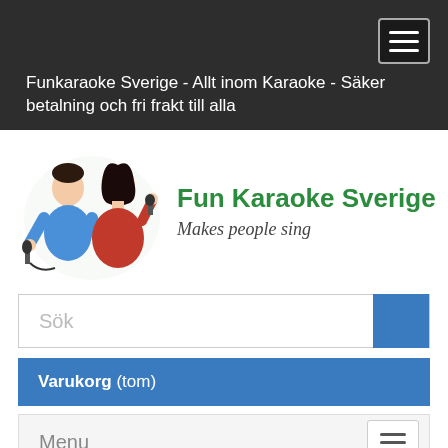Funkaraoke Sverige - Allt inom Karaoke - Säker betalning och fri frakt till alla
[Figure (logo): Fun Karaoke Sverige logo with two singers and text 'Fun Karaoke Sverige - Makes people sing']
Sök
Varukorg (tom)
Menu
Hem / KARAOKE DISC SET / Disc Set CDG